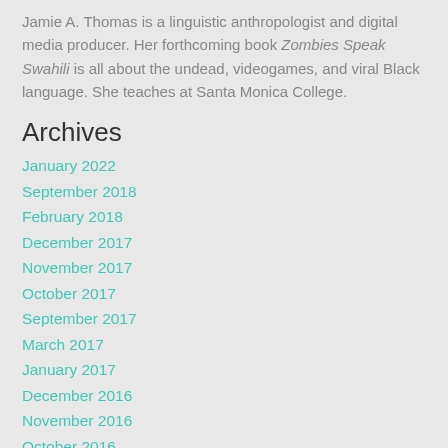Jamie A. Thomas is a linguistic anthropologist and digital media producer. Her forthcoming book Zombies Speak Swahili is all about the undead, videogames, and viral Black language. She teaches at Santa Monica College.
Archives
January 2022
September 2018
February 2018
December 2017
November 2017
October 2017
September 2017
March 2017
January 2017
December 2016
November 2016
October 2016
August 2016